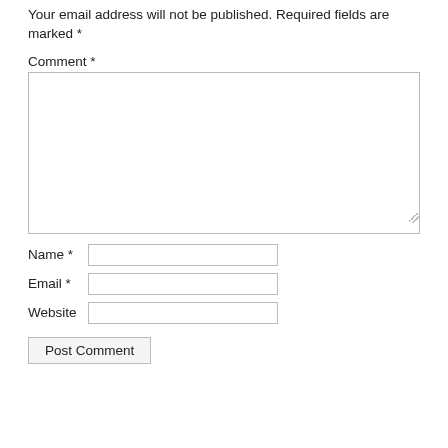Your email address will not be published. Required fields are marked *
Comment *
Name *
Email *
Website
Post Comment